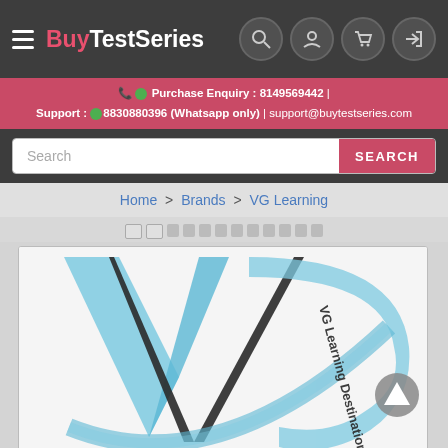BuyTestSeries
Purchase Enquiry : 8149569442 | Support : 8830880396 (Whatsapp only) | support@buytestseries.com
Search
Home > Brands > VG Learning
[Figure (logo): VG Learning Destination logo — large stylized 'VG' letters in blue and dark grey with a swooping arc and the text 'VG Learning Destination' along the arc]